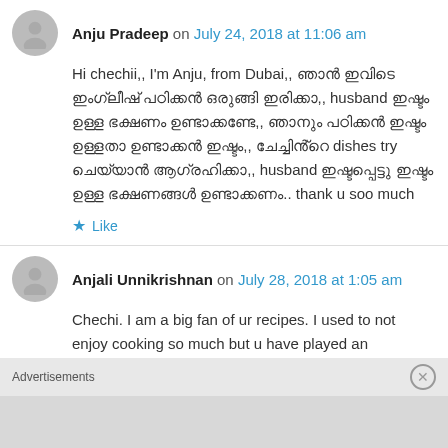Anju Pradeep on July 24, 2018 at 11:06 am
Hi chechii,, I'm Anju, from Dubai,, [Malayalam text],, husband [Malayalam text],, [Malayalam text] dishes try [Malayalam text],, husband [Malayalam text].. thank u soo much
Like
Anjali Unnikrishnan on July 28, 2018 at 1:05 am
Chechi. I am a big fan of ur recipes. I used to not enjoy cooking so much but u have played an
Advertisements